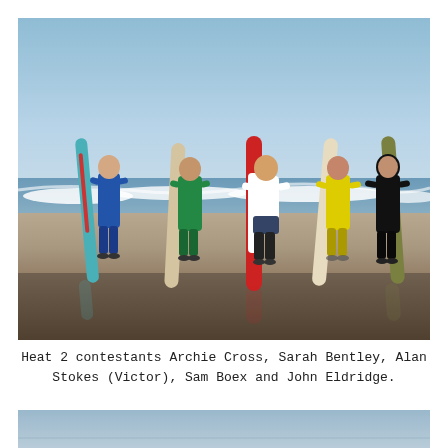[Figure (photo): Five surfers standing on a wet sandy beach holding surfboards of various colors (teal/red striped, beige, red/white, white/beige, olive/dark). Waves and a blue sky with a horizon line visible in the background. The surfers wear wetsuits in blue, green, white, yellow, and black.]
Heat 2 contestants Archie Cross, Sarah Bentley, Alan Stokes (Victor), Sam Boex and John Eldridge.
[Figure (photo): Partial view of another beach/ocean photo — shows a light blue-grey sky and calm sea, cropped at the bottom of the page.]